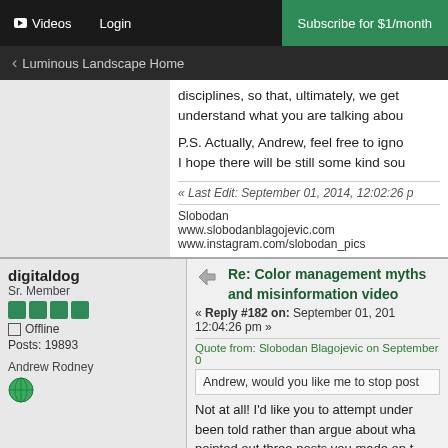Videos | Login | Subscribe for $1/month
< Luminous Landscape Home
disciplines, so that, ultimately, we get understand what you are talking abou
P.S. Actually, Andrew, feel free to igno I hope there will be still some kind sou
« Last Edit: September 01, 2014, 12:02:26 p
Slobodan
www.slobodanblagojevic.com
www.instagram.com/slobodan_pics
digitaldog
Sr. Member
Offline
Posts: 19893
Andrew Rodney
Re: Color management myths and misinformation video
« Reply #182 on: September 01, 2014, 12:04:26 pm »
Quote from: Slobodan Blagojevic on September 0
Andrew, would you like me to stop post
Not at all! I'd like you to attempt under been told rather than argue about wha pointed out three posts you made on t even verify you read or understood th